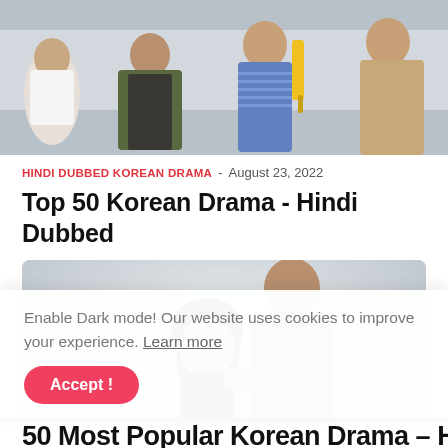[Figure (photo): Group of people sitting together — women and men in casual clothing against a light background]
HINDI DUBBED KOREAN DRAMA – August 23, 2022
Top 50 Korean Drama - Hindi Dubbed
[Figure (photo): Korean drama promotional image showing a smiling young woman leaning against a man in a grey blazer]
Enable Dark mode! Our website uses cookies to improve your experience. Learn more
Accept !
50 Most Popular Korean Drama – Hindi